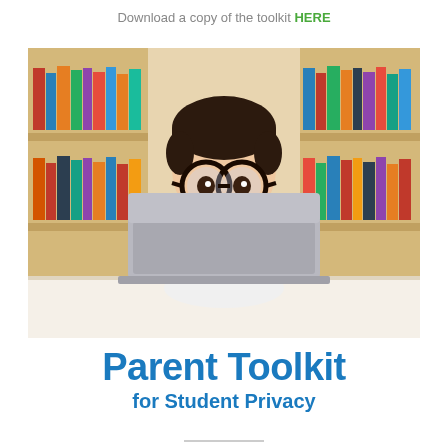Download a copy of the toolkit HERE
[Figure (photo): A child with large round glasses peeking over a laptop computer in front of a bookshelf filled with colorful books]
Parent Toolkit for Student Privacy